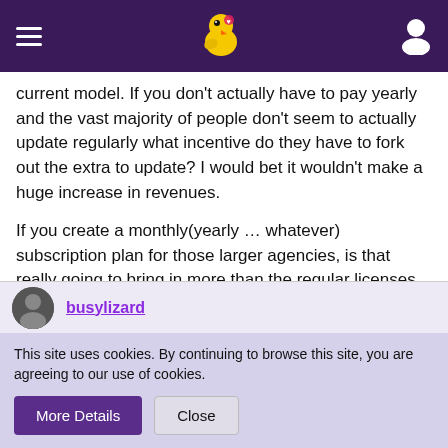[Navigation bar with hamburger menu, bird logo, and user icon]
current model. If you don't actually have to pay yearly and the vast majority of people don't seem to actually update regularly what incentive do they have to fork out the extra to update? I would bet it wouldn't make a huge increase in revenues.
If you create a monthly(yearly … whatever) subscription plan for those larger agencies, is that really going to bring in more than the regular licenses themselves? I think it would need to be a decent amount per month to make it more profitable.
I'd like to see someone (smarter than I am) put together some quick numbers to forcast revenue over the short, mid and long term vs maintaining the standard model.
[User avatar and username link]
This site uses cookies. By continuing to browse this site, you are agreeing to our use of cookies.
More Details  Close